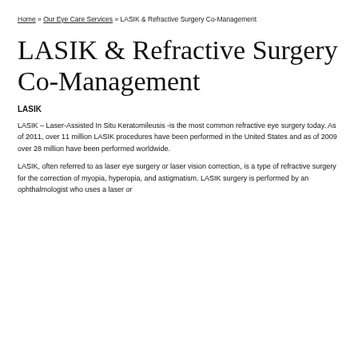Home » Our Eye Care Services » LASIK & Refractive Surgery Co-Management
LASIK & Refractive Surgery Co-Management
LASIK
LASIK – Laser-Assisted In Situ Keratomileusis -is the most common refractive eye surgery today. As of 2011, over 11 million LASIK procedures have been performed in the United States and as of 2009 over 28 million have been performed worldwide.
LASIK, often referred to as laser eye surgery or laser vision correction, is a type of refractive surgery for the correction of myopia, hyperopia, and astigmatism. LASIK surgery is performed by an ophthalmologist who uses a laser or